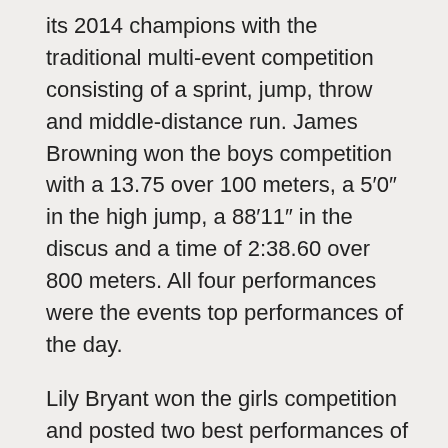its 2014 champions with the traditional multi-event competition consisting of a sprint, jump, throw and middle-distance run. James Browning won the boys competition with a 13.75 over 100 meters, a 5′0″ in the high jump, a 88′11″ in the discus and a time of 2:38.60 over 800 meters. All four performances were the events top performances of the day.
Lily Bryant won the girls competition and posted two best performances of the day — a 63′0″ in the discus and a 3:21.32 over 800 meters. In the first round Amani Wagner threw the shot put to 32′9.5″ and trumped the old school record of 32′8.5″ held by her team mate Jasmin Davidson. In the third round Davidson countered and catapulted the iron ball to 33′5.5″, reclaiming her record. Payden Kegle had the fastest 100-meters girls hurdle time in 21.58 seconds. Alejandra Erazo posted the fastest 100-meter dash time in 14.72 seconds. Jude